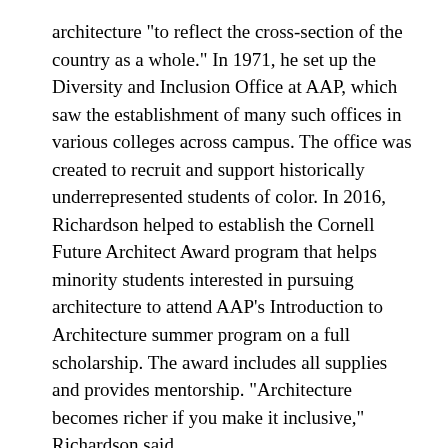architecture "to reflect the cross-section of the country as a whole." In 1971, he set up the Diversity and Inclusion Office at AAP, which saw the establishment of many such offices in various colleges across campus. The office was created to recruit and support historically underrepresented students of color. In 2016, Richardson helped to establish the Cornell Future Architect Award program that helps minority students interested in pursuing architecture to attend AAP's Introduction to Architecture summer program on a full scholarship. The award includes all supplies and provides mentorship. "Architecture becomes richer if you make it inclusive," Richardson said.
Looking back on his 50 years in architecture, Richardson remarked, "If you have the [ability] to learn new skills, then you can keep going."